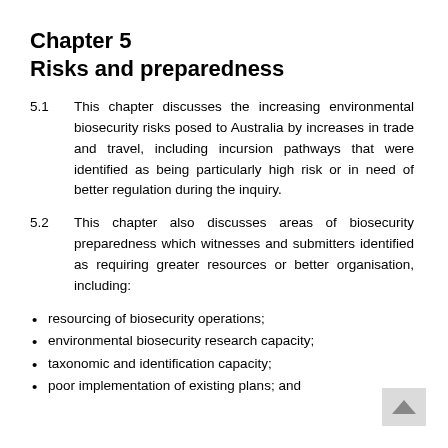Chapter 5
Risks and preparedness
5.1        This chapter discusses the increasing environmental biosecurity risks posed to Australia by increases in trade and travel, including incursion pathways that were identified as being particularly high risk or in need of better regulation during the inquiry.
5.2        This chapter also discusses areas of biosecurity preparedness which witnesses and submitters identified as requiring greater resources or better organisation, including:
resourcing of biosecurity operations;
environmental biosecurity research capacity;
taxonomic and identification capacity;
poor implementation of existing plans; and